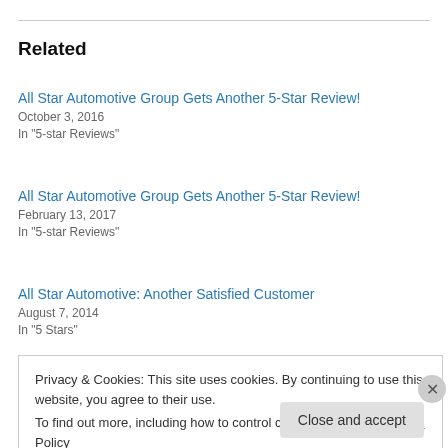Related
All Star Automotive Group Gets Another 5-Star Review!
October 3, 2016
In "5-star Reviews"
All Star Automotive Group Gets Another 5-Star Review!
February 13, 2017
In "5-star Reviews"
All Star Automotive: Another Satisfied Customer
August 7, 2014
In "5 Stars"
Privacy & Cookies: This site uses cookies. By continuing to use this website, you agree to their use.
To find out more, including how to control cookies, see here: Cookie Policy